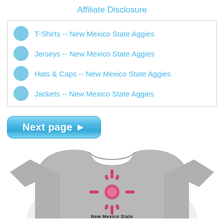Affiliate Disclosure
T-Shirts -- New Mexico State Aggies
Jerseys -- New Mexico State Aggies
Hats & Caps -- New Mexico State Aggies
Jackets -- New Mexico State Aggies
[Figure (screenshot): Blue rounded rectangle button with white bold text 'Next page ►']
[Figure (photo): Grey t-shirt with New Mexico State Aggies logo in pink and black]